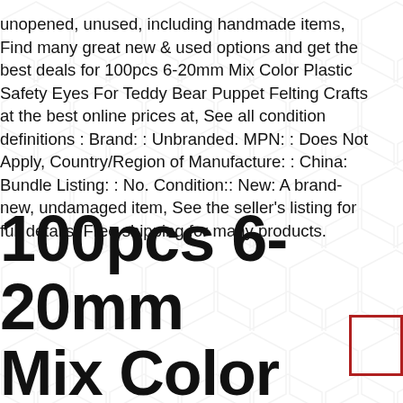unopened, unused, including handmade items, Find many great new & used options and get the best deals for 100pcs 6-20mm Mix Color Plastic Safety Eyes For Teddy Bear Puppet Felting Crafts at the best online prices at, See all condition definitions : Brand: : Unbranded. MPN: : Does Not Apply, Country/Region of Manufacture: : China: Bundle Listing: : No. Condition:: New: A brand-new, undamaged item, See the seller's listing for full details. Free shipping for many products.
100pcs 6-20mm Mix Color Plastic Safety Eyes For